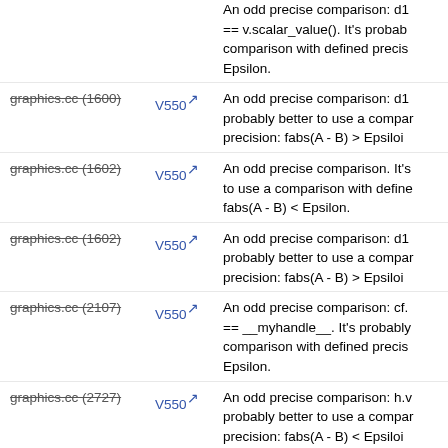graphics.cc (1600) V550 An odd precise comparison: d1 == v.scalar_value(). It's probably better to use a comparison with defined precision: fabs(A - B) > Epsilon.
graphics.cc (1600) V550 An odd precise comparison: d1 probably better to use a comparison with defined precision: fabs(A - B) > Epsilon.
graphics.cc (1602) V550 An odd precise comparison. It's probably better to use a comparison with defined precision: fabs(A - B) < Epsilon.
graphics.cc (1602) V550 An odd precise comparison: d1 probably better to use a comparison with defined precision: fabs(A - B) > Epsilon.
graphics.cc (2107) V550 An odd precise comparison: cf. == __myhandle__. It's probably better to use a comparison with defined precision: fabs(A - B) > Epsilon.
graphics.cc (2727) V550 An odd precise comparison: h.v probably better to use a comparison with defined precision: fabs(A - B) < Epsilon.
graphics.cc (3248) V550 An odd precise comparison: hp __myhandle__. It's probably better to use a comparison with defined precision: fabs(A - B) > Epsilon.
An odd precise comparison: